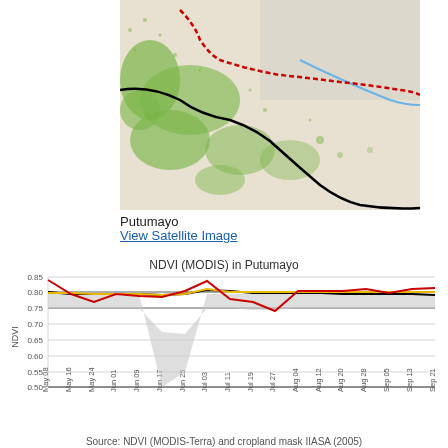[Figure (map): Satellite/vegetation map of Putumayo region showing green vegetation areas with red dotted boundary line and black administrative boundary lines, with a blue river line]
Putumayo
View Satellite Image
[Figure (line-chart): NDVI (MODIS) in Putumayo]
Source: NDVI (MODIS-Terra) and cropland mask IIASA (2005)